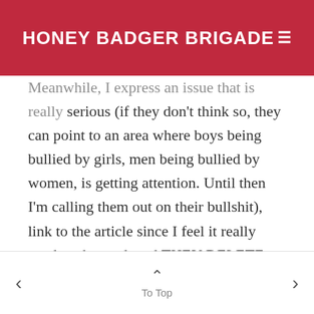HONEY BADGER BRIGADE
Meanwhile, I express an issue that is really serious (if they don't think so, they can point to an area where boys being bullied by girls, men being bullied by women, is getting attention. Until then I'm calling them out on their bullshit), link to the article since I feel it really needs to be read, and THEY DELETE MY EFFORTS!
What do they call Hugo Schwatzer (I don't give a damn about spelling his last name right) and Amanda Marcotte's motives in their writings
< To Top >